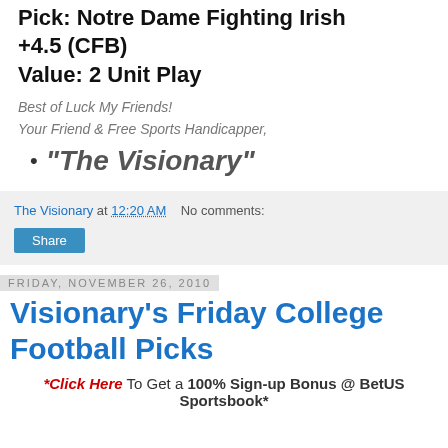Pick: Notre Dame Fighting Irish +4.5 (CFB)
Value: 2 Unit Play
Best of Luck My Friends!
Your Friend & Free Sports Handicapper,
"The Visionary"
The Visionary at 12:20 AM   No comments:
Share
Friday, November 26, 2010
Visionary's Friday College Football Picks
*Click Here To Get a 100% Sign-up Bonus @ BetUS Sportsbook*